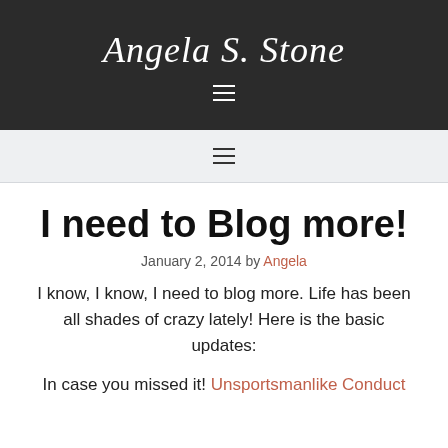Angela S. Stone
I need to Blog more!
January 2, 2014 by Angela
I know, I know, I need to blog more. Life has been all shades of crazy lately! Here is the basic updates:
In case you missed it! Unsportsmanlike Conduct